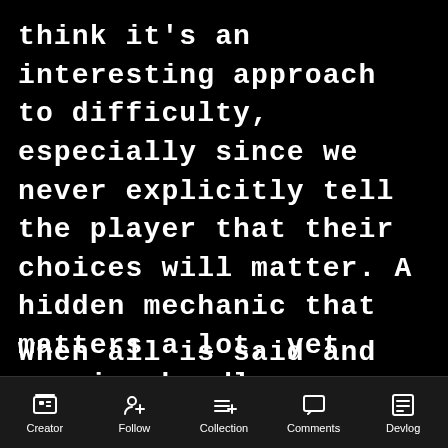think it's an interesting approach to difficulty, especially since we never explicitly tell the player that their choices will matter. A hidden mechanic that matters a lot, yet remains hardly noticeable to the player and doesn't break their immersion.
When all is said and done, I
Creator | Follow | Collection | Comments | Devlog